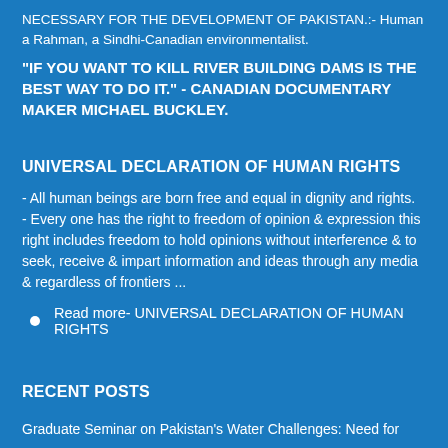NECESSARY FOR THE DEVELOPMENT OF PAKISTAN.:- Human a Rahman, a Sindhi-Canadian environmentalist.
"IF YOU WANT TO KILL RIVER BUILDING DAMS IS THE BEST WAY TO DO IT." - CANADIAN DOCUMENTARY MAKER MICHAEL BUCKLEY.
UNIVERSAL DECLARATION OF HUMAN RIGHTS
- All human beings are born free and equal in dignity and rights.
- Every one has the right to freedom of opinion & expression this right includes freedom to hold opinions without interference & to seek, receive & impart information and ideas through any media & regardless of frontiers ...
Read more- UNIVERSAL DECLARATION OF HUMAN RIGHTS
RECENT POSTS
Graduate Seminar on Pakistan's Water Challenges: Need for